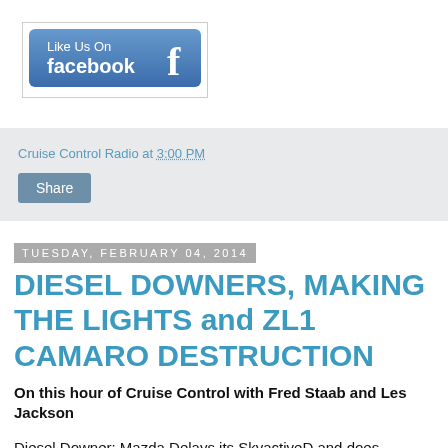[Figure (logo): Like Us On Facebook logo button with blue background and Facebook 'f' icon]
Cruise Control Radio at 3:00 PM
Share
Tuesday, February 04, 2014
DIESEL DOWNERS, MAKING THE LIGHTS and ZL1 CAMARO DESTRUCTION
On this hour of Cruise Control with Fred Staab and Les Jackson
Diesel Downer: Mazda Delays its SkyactiveD and does Washington DC really want to ban all diesels? Another